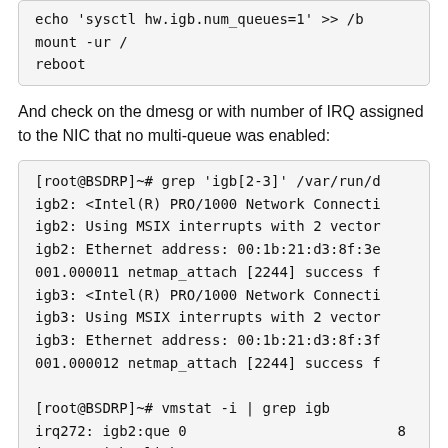echo 'sysctl hw.igb.num_queues=1' >> /b
mount -ur /
reboot
And check on the dmesg or with number of IRQ assigned to the NIC that no multi-queue was enabled:
[root@BSDRP]~# grep 'igb[2-3]' /var/run/d
igb2: <Intel(R) PRO/1000 Network Connecti
igb2: Using MSIX interrupts with 2 vector
igb2: Ethernet address: 00:1b:21:d3:8f:3e
001.000011 netmap_attach [2244] success f
igb3: <Intel(R) PRO/1000 Network Connecti
igb3: Using MSIX interrupts with 2 vector
igb3: Ethernet address: 00:1b:21:d3:8f:3f
001.000012 netmap_attach [2244] success f

[root@BSDRP]~# vmstat -i | grep igb
irq272: igb2:que 0                       8
irq273: igb2:link